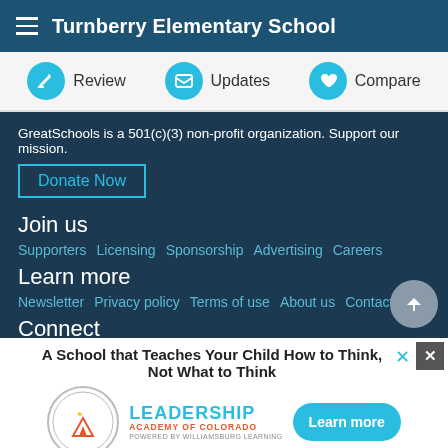Turnberry Elementary School
Review  Updates  Compare
GreatSchools is a 501(c)(3) non-profit organization. Support our mission.
Donate Now
Join us
Supporters   Licensing   Sponsorship   Advertising   Careers
Learn more
Newsletter   Privacy policy   Terms of use   About us   Contact us
Connect
A School that Teaches Your Child How to Think, Not What to Think
[Figure (logo): Leadership Academy of Colorado logo with mountain graphic inside a circle]
Learn more
ADVERTISEMENT